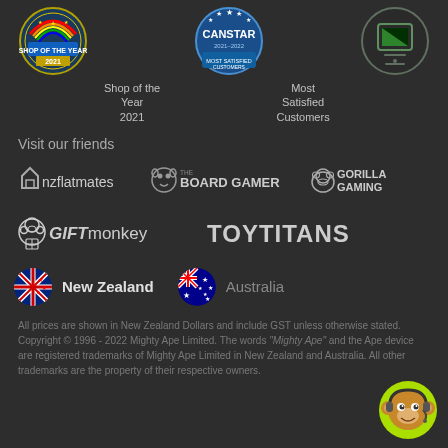[Figure (logo): Shop of the Year 2021 award badge (colorful circular badge)]
[Figure (logo): Canstar Most Satisfied Customers award badge (blue circular badge)]
[Figure (logo): Third award badge (green/teal circular badge)]
Shop of the Year
2021
Most Satisfied
Customers
Visit our friends
[Figure (logo): nzflatmates logo in white]
[Figure (logo): The Board Gamer logo in white]
[Figure (logo): Gorilla Gaming logo in white]
[Figure (logo): GIFTmonkey logo in white]
[Figure (logo): TOYTITANS logo in white]
[Figure (logo): New Zealand flag circle]
New Zealand
[Figure (logo): Australia flag circle]
Australia
All prices are shown in New Zealand Dollars and include GST unless otherwise stated. Copyright © 1996 - 2022 Mighty Ape Limited. The words "Mighty Ape" and the Ape device are registered trademarks of Mighty Ape Limited in New Zealand and Australia. All other trademarks are the property of their respective owners.
[Figure (illustration): Monkey customer support avatar with headset on green circle background]